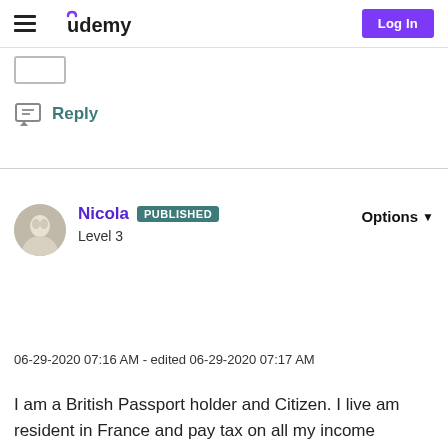Udemy — Log In
[Figure (screenshot): Small rectangular button/box outline at top left]
Reply
Nicola PUBLISHED Level 3
Options
06-29-2020 07:16 AM - edited 06-29-2020 07:17 AM
I am a British Passport holder and Citizen. I live am resident in France and pay tax on all my income